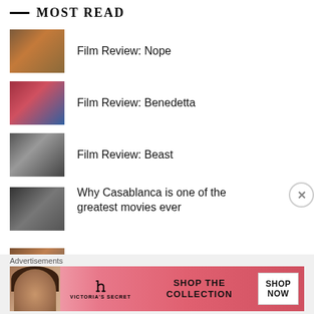MOST READ
Film Review: Nope
Film Review: Benedetta
Film Review: Beast
Why Casablanca is one of the greatest movies ever
Film Review: Hit the Road
Film Review: Edie
Advertisements
[Figure (infographic): Victoria's Secret advertisement banner showing a model with curly hair, the VS logo, and text 'SHOP THE COLLECTION' with a 'SHOP NOW' button]